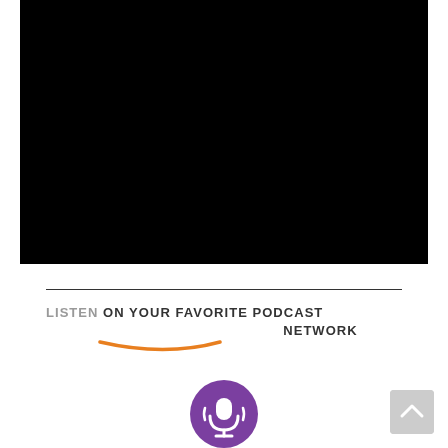[Figure (photo): Large black rectangle representing a video or image area]
LISTEN ON YOUR FAVORITE PODCAST NETWORK
[Figure (illustration): Orange curved underline beneath LISTEN text]
[Figure (logo): Purple podcast microphone icon circle]
[Figure (illustration): Grey scroll-to-top button in bottom right corner]